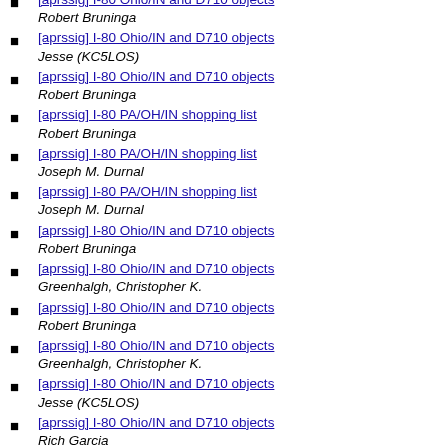[aprssig] I-80 Ohio/IN and D710 objects
Robert Bruninga
[aprssig] I-80 Ohio/IN and D710 objects
Jesse (KC5LOS)
[aprssig] I-80 Ohio/IN and D710 objects
Robert Bruninga
[aprssig] I-80 PA/OH/IN shopping list
Robert Bruninga
[aprssig] I-80 PA/OH/IN shopping list
Joseph M. Durnal
[aprssig] I-80 PA/OH/IN shopping list
Joseph M. Durnal
[aprssig] I-80 Ohio/IN and D710 objects
Robert Bruninga
[aprssig] I-80 Ohio/IN and D710 objects
Greenhalgh, Christopher K.
[aprssig] I-80 Ohio/IN and D710 objects
Robert Bruninga
[aprssig] I-80 Ohio/IN and D710 objects
Greenhalgh, Christopher K.
[aprssig] I-80 Ohio/IN and D710 objects
Jesse (KC5LOS)
[aprssig] I-80 Ohio/IN and D710 objects
Rich Garcia
[aprssig] Local Info Objects  Robert